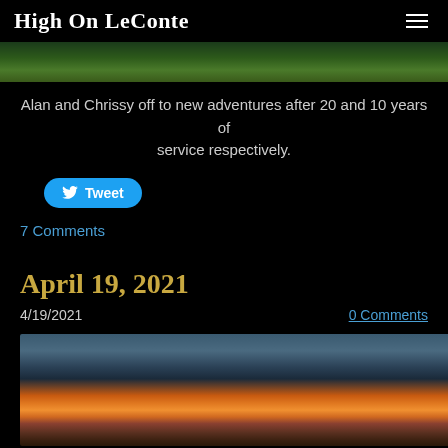High On LeConte
[Figure (photo): Partial view of green foliage/nature photo cropped at top of page]
Alan and Chrissy off to new adventures after 20 and 10 years of service respectively.
Tweet
7 Comments
April 19, 2021
4/19/2021
0 Comments
[Figure (photo): Dramatic sunset/sunrise photo showing colorful sky with orange and gold hues above clouds and mountain ridgeline]